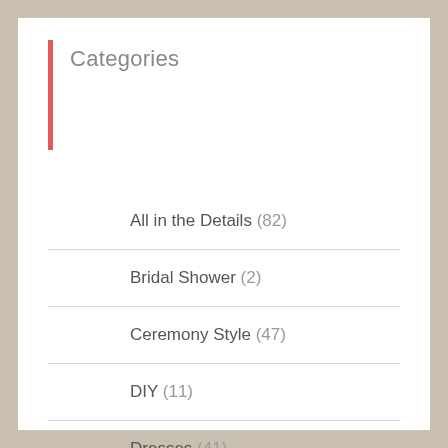Categories
All in the Details (82)
Bridal Shower (2)
Ceremony Style (47)
DIY (11)
Dresses (41)
Engagement (7)
Etiquette (11)